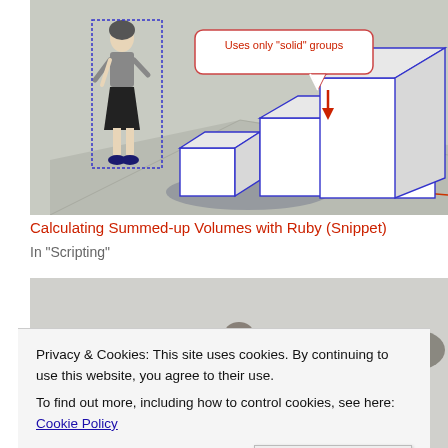[Figure (screenshot): SketchUp 3D scene showing a person standing next to three progressively larger white cubes outlined in blue, on a grey ground plane. A callout bubble in red text reads 'Uses only "solid" groups' with a red arrow pointing to one of the cubes.]
Calculating Summed-up Volumes with Ruby (Snippet)
In "Scripting"
[Figure (photo): Photo of stacked balanced rocks (stones) arranged in a cairn-like formation against a light background.]
Privacy & Cookies: This site uses cookies. By continuing to use this website, you agree to their use.
To find out more, including how to control cookies, see here: Cookie Policy